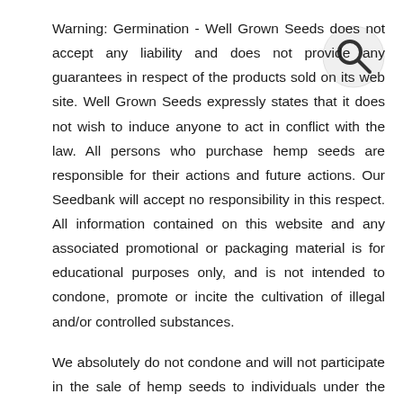Warning: Germination - Well Grown Seeds does not accept any liability and does not provide any guarantees in respect of the products sold on its web site. Well Grown Seeds expressly states that it does not wish to induce anyone to act in conflict with the law. All persons who purchase hemp seeds are responsible for their actions and future actions. Our Seedbank will accept no responsibility in this respect. All information contained on this website and any associated promotional or packaging material is for educational purposes only, and is not intended to condone, promote or incite the cultivation of illegal and/or controlled substances.
We absolutely do not condone and will not participate in the sale of hemp seeds to individuals under the age of twenty-one (21). We will take steps to verify your age!
[Figure (other): Search icon (magnifying glass) in top right corner]